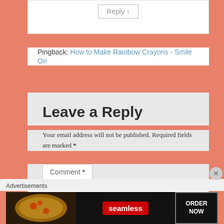Reply ↑
Pingback: How to Make Rainbow Crayons - Smile On
Leave a Reply
Your email address will not be published. Required fields are marked *
Comment *
Advertisements
[Figure (photo): Seamless food delivery advertisement banner with pizza image, Seamless logo, and ORDER NOW button]